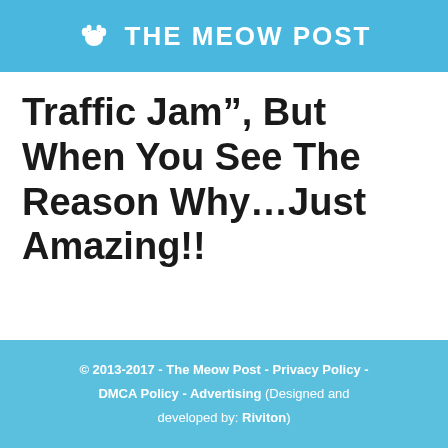🐾 THE MEOW POST
Traffic Jam”, But When You See The Reason Why…Just Amazing!!
© 2013-2017 - The Meow Post - Privacy Policy - DMCA Policy - Advertising (Designed and developed by: Riviton)